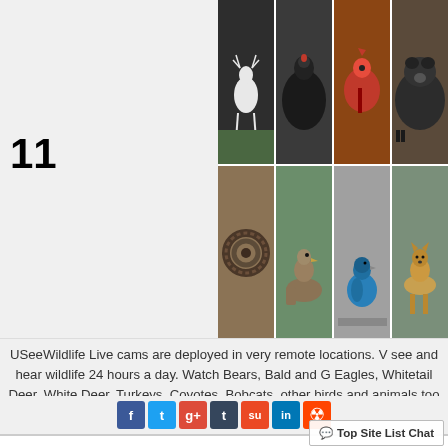11
[Figure (photo): Grid of wildlife photos showing white deer, turkey, bird, bear in top row; snake, brown bird, blue indigo bunting, fox/deer in bottom row]
USeeWildlife Live cams are deployed in very remote locations. V... see and hear wildlife 24 hours a day. Watch Bears, Bald and G Eagles, Whitetail Deer, White Deer, Turkeys, Coyotes, Bobcats, other birds and animals too numerous to li
[Figure (screenshot): Social media share buttons: Facebook (f), Twitter (t), Google+ (g+), Tumblr (t), StumbleUpon (su), LinkedIn (in), Reddit (alien icon)]
Sea Breeze Cams
[Figure (photo): Marina with boat masts silhouetted against a grey sky]